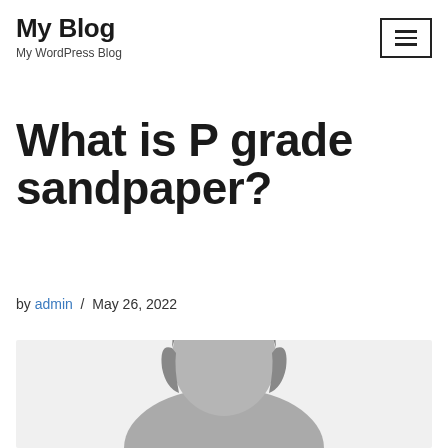My Blog
My WordPress Blog
What is P grade sandpaper?
by admin / May 26, 2022
[Figure (illustration): Generic placeholder avatar silhouette of a person on a light grey background]